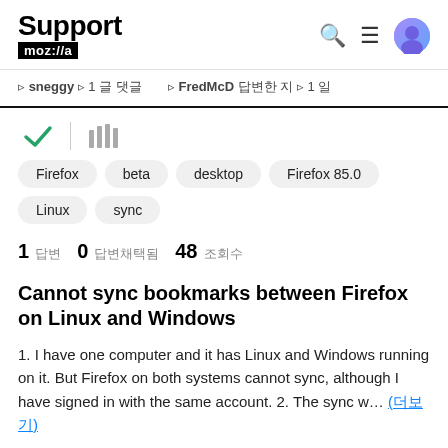Support mozilla
sneggy 1 글 댓글  FredMcD 답변한 지 1 일
[Figure (illustration): Checkmark icon and library/bookmarks icon]
Firefox
beta
desktop
Firefox 85.0
Linux
sync
1 답변  0 답변채택됨  48 조회수
Cannot sync bookmarks between Firefox on Linux and Windows
1. I have one computer and it has Linux and Windows running on it. But Firefox on both systems cannot sync, although I have signed in with the same account. 2. The sync w… (더보기)